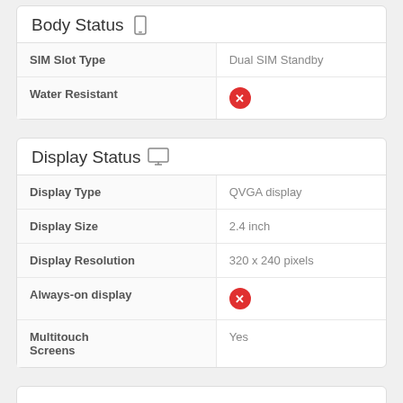| Feature | Value |
| --- | --- |
| SIM Slot Type | Dual SIM Standby |
| Water Resistant | ✗ |
| Feature | Value |
| --- | --- |
| Display Type | QVGA display |
| Display Size | 2.4 inch |
| Display Resolution | 320 x 240 pixels |
| Always-on display | ✗ |
| Multitouch Screens | Yes |